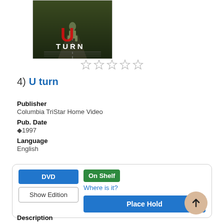[Figure (photo): Movie cover/poster for U Turn (1997), showing a figure on a road with a large red letter U and the word TURN below it.]
[Figure (other): Five empty star rating icons displayed in a row, indicating no rating selected.]
4)  U turn
Publisher
Columbia TriStar Home Video
Pub. Date
◆1997
Language
English
DVD  Show Edition  On Shelf  Where is it?  Place Hold
Description
Read Description